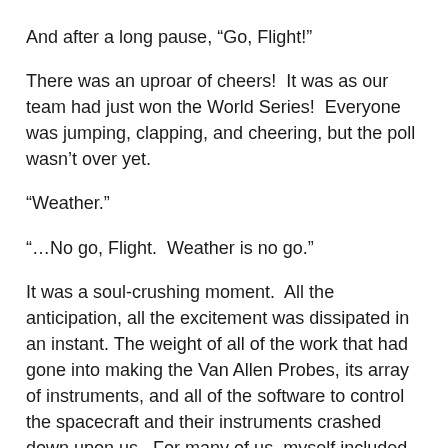And after a long pause, “Go, Flight!”
There was an uproar of cheers!  It was as our team had just won the World Series!  Everyone was jumping, clapping, and cheering, but the poll wasn’t over yet.
“Weather.”
“…No go, Flight.  Weather is no go.”
It was a soul-crushing moment.  All the anticipation, all the excitement was dissipated in an instant. The weight of all of the work that had gone into making the Van Allen Probes, its array of instruments, and all of the software to control the spacecraft and their instruments crashed down upon us.  For many of us, myself included, this was our first time, perhaps the singular time in our lifetimes, of getting to witness a rocket launch, and certainly the singular time we would be able to